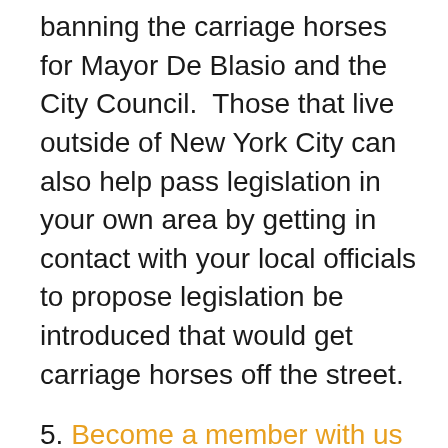banning the carriage horses for Mayor De Blasio and the City Council.  Those that live outside of New York City can also help pass legislation in your own area by getting in contact with your local officials to propose legislation be introduced that would get carriage horses off the street.
5. Become a member with us or join our email newsletter to get more information, volunteer, find out about upcoming events, or help the horses by making a donation to Friends of Animals.